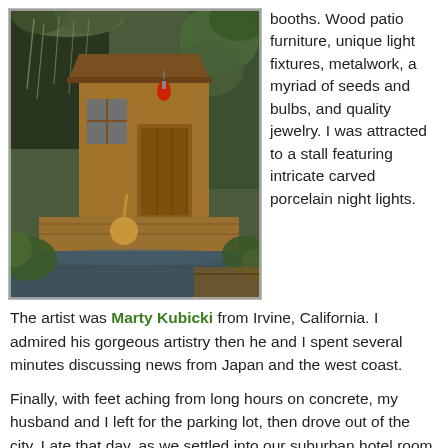[Figure (photo): A rustic wooden cabin or bayou shack on a wooden deck surrounded by water and lush green vegetation, with Spanish moss hanging from trees. A red lantern hangs near the door. The structure appears old and weathered.]
booths. Wood patio furniture, unique light fixtures, metalwork, a myriad of seeds and bulbs, and quality jewelry. I was attracted to a stall featuring intricate carved porcelain night lights.  The artist was Marty Kubicki from Irvine, California.  I admired his gorgeous artistry then he and I spent several minutes discussing news from Japan and the west coast.
Finally, with feet aching from long hours on concrete, my husband and I left for the parking lot, then drove out of the city.  Late that day, as we settled into our suburban hotel room, we